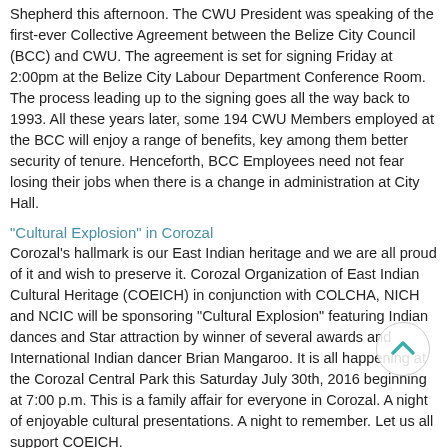Shepherd this afternoon. The CWU President was speaking of the first-ever Collective Agreement between the Belize City Council (BCC) and CWU. The agreement is set for signing Friday at 2:00pm at the Belize City Labour Department Conference Room. The process leading up to the signing goes all the way back to 1993. All these years later, some 194 CWU Members employed at the BCC will enjoy a range of benefits, key among them better security of tenure. Henceforth, BCC Employees need not fear losing their jobs when there is a change in administration at City Hall.
"Cultural Explosion" in Corozal
Corozal's hallmark is our East Indian heritage and we are all proud of it and wish to preserve it. Corozal Organization of East Indian Cultural Heritage (COEICH) in conjunction with COLCHA, NICH and NCIC will be sponsoring "Cultural Explosion" featuring Indian dances and Star attraction by winner of several awards and International Indian dancer Brian Mangaroo. It is all happening at the Corozal Central Park this Saturday July 30th, 2016 beginning at 7:00 p.m. This is a family affair for everyone in Corozal. A night of enjoyable cultural presentations. A night to remember. Let us all support COEICH.
Emergency power interruption 5:00am to 9:00am, Friday, July 29: entire San Pedro Town, Ambergris Caye